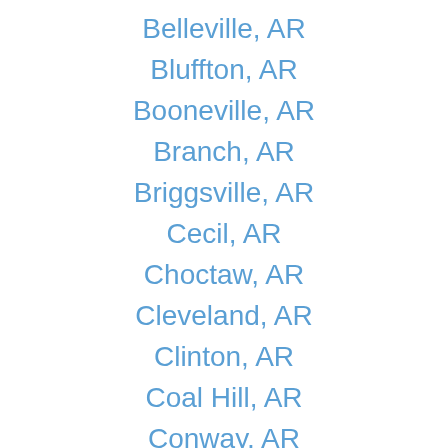Belleville, AR
Bluffton, AR
Booneville, AR
Branch, AR
Briggsville, AR
Cecil, AR
Choctaw, AR
Cleveland, AR
Clinton, AR
Coal Hill, AR
Conway, AR
Danville, AR
Dover, AR
Gilbert, AR